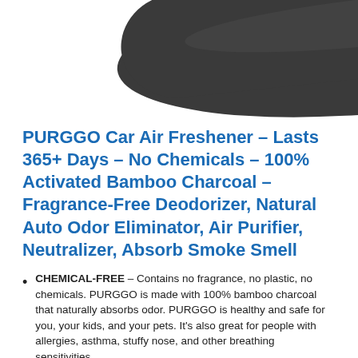[Figure (photo): Dark gray/charcoal colored car air freshener product shown from above against white background]
PURGGO Car Air Freshener – Lasts 365+ Days – No Chemicals – 100% Activated Bamboo Charcoal – Fragrance-Free Deodorizer, Natural Auto Odor Eliminator, Air Purifier, Neutralizer, Absorb Smoke Smell
CHEMICAL-FREE – Contains no fragrance, no plastic, no chemicals. PURGGO is made with 100% bamboo charcoal that naturally absorbs odor. PURGGO is healthy and safe for you, your kids, and your pets. It's also great for people with allergies, asthma, stuffy nose, and other breathing sensitivities.
ELIMINATE (NOT MASK) ODOR – Porous bamboo…